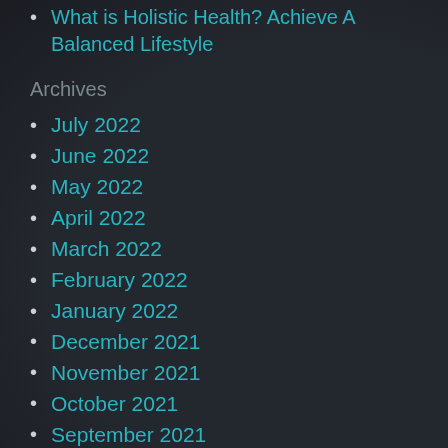What is Holistic Health? Achieve A Balanced Lifestyle
Archives
July 2022
June 2022
May 2022
April 2022
March 2022
February 2022
January 2022
December 2021
November 2021
October 2021
September 2021
August 2021
July 2021